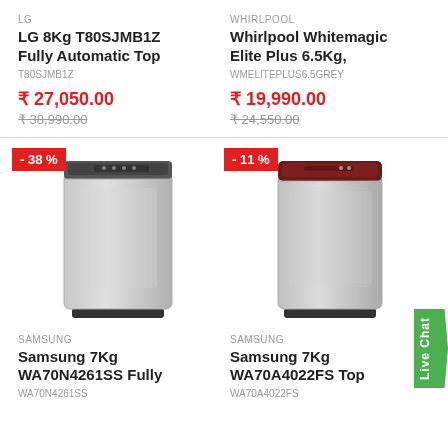LG
LG 8Kg T80SJMB1Z Fully Automatic Top
T80SJMB1Z
₹ 27,050.00
₹ 38,990.00
WHIRLPOOL
Whirlpool Whitemagic Elite Plus 6.5Kg,
WMELITEPLUS6.5GREY
₹ 19,990.00
₹ 24,550.00
[Figure (photo): Samsung 7Kg WA70N4261SS washing machine, silver/grey top-load, with -38% discount badge]
SAMSUNG
Samsung 7Kg WA70N4261SS Fully
WA70N4261SS
[Figure (photo): Samsung 7Kg WA70A4022FS washing machine, silver top-load with dark red lid, with -11% discount badge]
SAMSUNG
Samsung 7Kg WA70A4022FS Top
WA70A4022FS